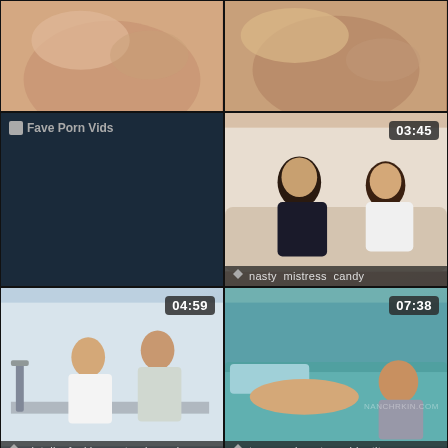[Figure (screenshot): Video thumbnail 1 - top left, skin tone close-up]
[Figure (screenshot): Video thumbnail 2 - top right, skin tone close-up]
[Figure (screenshot): Video thumbnail 3 - middle left, dark placeholder with Fave Porn Vids logo]
[Figure (screenshot): Video thumbnail 4 - middle right, two women on couch, duration 03:45, tags: nasty, mistress, candy]
[Figure (screenshot): Video thumbnail 5 - lower middle left, two people kissing at desk, duration 04:59, tags: pigtails, fucking, natural, candy]
[Figure (screenshot): Video thumbnail 6 - lower middle right, couple on bed, duration 07:38, tags: teen, orgies, teen, big, tits]
[Figure (screenshot): Video thumbnail 7 - bottom left, redhead woman on floor, duration 08:00]
[Figure (screenshot): Video thumbnail 8 - bottom right, blonde woman, duration 19:38]